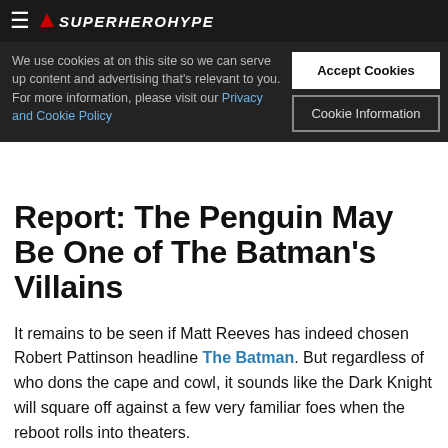SuperHeroHype
We use cookies at on this site so we can serve up content and advertising that's relevant to you. For more information, please visit our Privacy and Cookie Policy
Report: The Penguin May Be One of The Batman's Villains
It remains to be seen if Matt Reeves has indeed chosen Robert Pattinson headline The Batman. But regardless of who dons the cape and cowl, it sounds like the Dark Knight will square off against a few very familiar foes when the reboot rolls into theaters.
The Hollywood Reporter recently sent out the latest edition of its Heat Vision newsletter. And if they're to be believed, Reeves is looking to feature an entire cavalcade of villains in his film. Two of them, however, are no strangers to